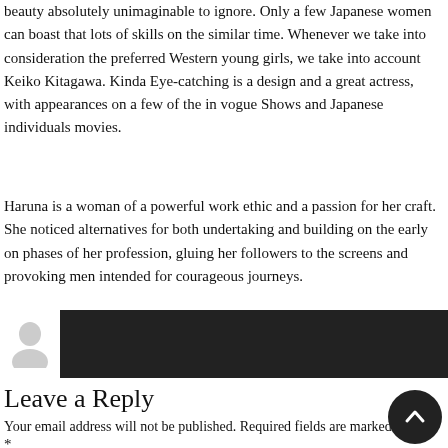beauty absolutely unimaginable to ignore. Only a few Japanese women can boast that lots of skills on the similar time. Whenever we take into consideration the preferred Western young girls, we take into account Keiko Kitagawa. Kinda Eye-catching is a design and a great actress, with appearances on a few of the in vogue Shows and Japanese individuals movies.
Haruna is a woman of a powerful work ethic and a passion for her craft. She noticed alternatives for both undertaking and building on the early on phases of her profession, gluing her followers to the screens and provoking men intended for courageous journeys.
[Figure (other): Dark comment bar with white avatar silhouette icon on left side]
Leave a Reply
Your email address will not be published. Required fields are marked *